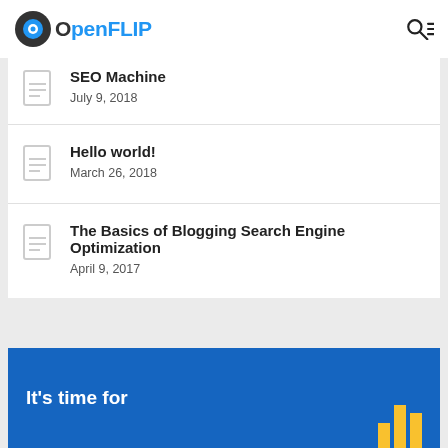OpenFLIP
SEO Machine
July 9, 2018
Hello world!
March 26, 2018
The Basics of Blogging Search Engine Optimization
April 9, 2017
[Figure (illustration): Blue promotional banner with text 'It's time for' and a yellow bar chart icon]